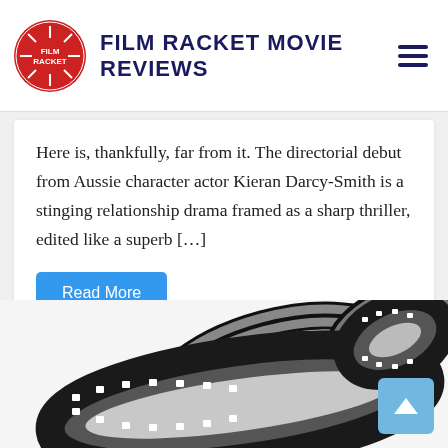Film Racket Movie Reviews
Here is, thankfully, far from it. The directorial debut from Aussie character actor Kieran Darcy-Smith is a stinging relationship drama framed as a sharp thriller, edited like a superb […]
Read More
[Figure (illustration): Film strip reel looped in figure-8 shape, black and white with sprocket holes, on a light grey background]